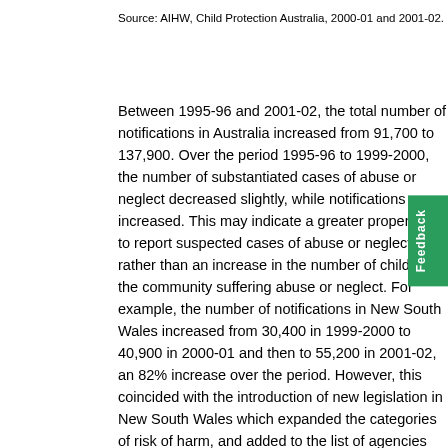Source: AIHW, Child Protection Australia, 2000-01 and 2001-02.
Between 1995-96 and 2001-02, the total number of notifications in Australia increased from 91,700 to 137,900. Over the period 1995-96 to 1999-2000, the number of substantiated cases of abuse or neglect decreased slightly, while notifications increased. This may indicate a greater propensity to report suspected cases of abuse or neglect, rather than an increase in the number of children in the community suffering abuse or neglect. For example, the number of notifications in New South Wales increased from 30,400 in 1999-2000 to 40,900 in 2000-01 and then to 55,200 in 2001-02, an 82% increase over the period. However, this coincided with the introduction of new legislation in New South Wales which expanded the categories of risk of harm, and added to the list of agencies and professionals that were mandated to report suspected cases of abuse or neglect. Conver...